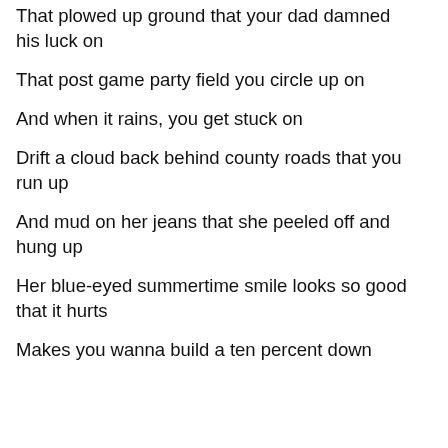That plowed up ground that your dad damned his luck on
That post game party field you circle up on
And when it rains, you get stuck on
Drift a cloud back behind county roads that you run up
And mud on her jeans that she peeled off and hung up
Her blue-eyed summertime smile looks so good that it hurts
Makes you wanna build a ten percent down